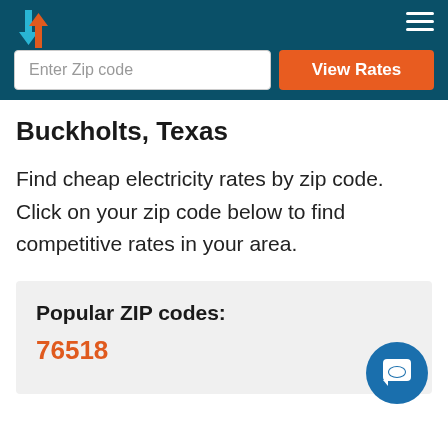Enter Zip code | View Rates
Buckholts, Texas
Find cheap electricity rates by zip code. Click on your zip code below to find competitive rates in your area.
Popular ZIP codes:
76518